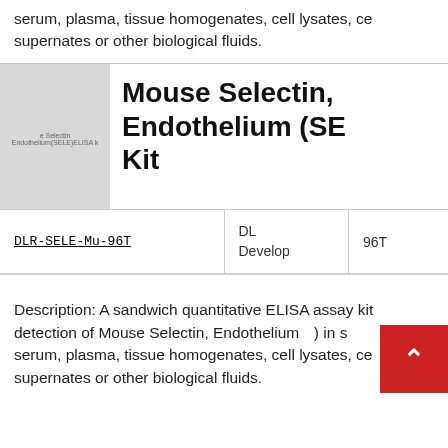serum, plasma, tissue homogenates, cell lysates, ce... supernates or other biological fluids.
[Figure (photo): Product image thumbnail showing E-Selectin ELISA kit box]
Mouse Selectin, Endothelium (SE... Kit
| Catalog Number | Brand | Size |
| --- | --- | --- |
| DLR-SELE-Mu-96T | DL Develop | 96T |
Description: A sandwich quantitative ELISA assay kit detection of Mouse Selectin, Endothelium (E) in s serum, plasma, tissue homogenates, cell lysates, ce supernates or other biological fluids.